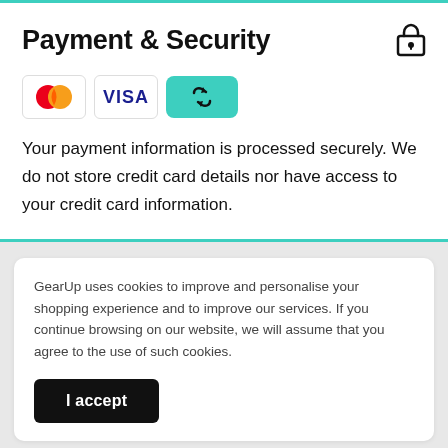Payment & Security
[Figure (illustration): Payment method icons: Mastercard (two overlapping circles red and orange), Visa (blue text on white), and a teal rounded rectangle with a circular arrows/link icon]
Your payment information is processed securely. We do not store credit card details nor have access to your credit card information.
GearUp uses cookies to improve and personalise your shopping experience and to improve our services. If you continue browsing on our website, we will assume that you agree to the use of such cookies.
I accept